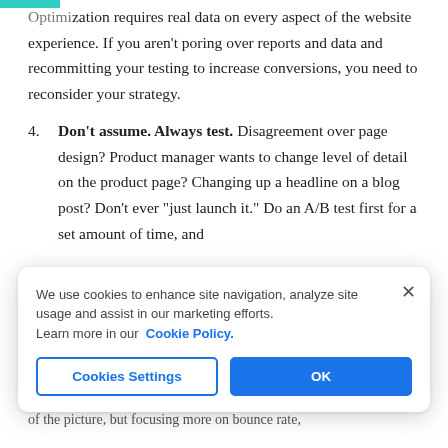Optimization requires real data on every aspect of the website experience. If you aren't poring over reports and data and recommitting your testing to increase conversions, you need to reconsider your strategy.
4. Don't assume. Always test. Disagreement over page design? Product manager wants to change level of detail on the product page? Changing up a headline on a blog post? Don't ever "just launch it." Do an A/B test first for a set amount of time, and
We use cookies to enhance site navigation, analyze site usage and assist in our marketing efforts.
Learn more in our Cookie Policy.
of the picture, but focusing more on bounce rate,